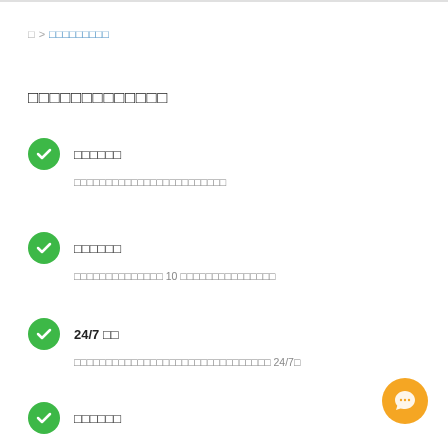□ > □□□□□□□□□
□□□□□□□□□□□□□
□□□□□□
□□□□□□□□□□□□□□□□□□□□□□□□
□□□□□□
□□□□□□□□□□□□□□ 10 □□□□□□□□□□□□□□□
24/7 □□
□□□□□□□□□□□□□□□□□□□□□□□□□□□□□□□ 24/7□
□□□□□□